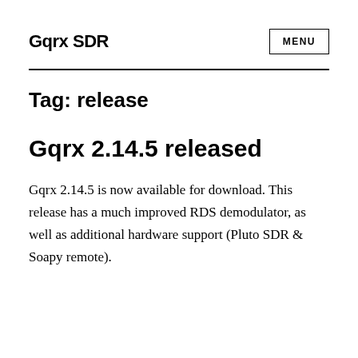Gqrx SDR
Tag: release
Gqrx 2.14.5 released
Gqrx 2.14.5 is now available for download. This release has a much improved RDS demodulator, as well as additional hardware support (Pluto SDR & Soapy remote).